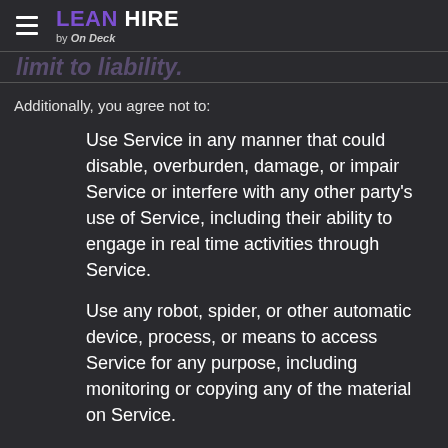LEAN HIRE by On Deck
Additionally, you agree not to:
Use Service in any manner that could disable, overburden, damage, or impair Service or interfere with any other party's use of Service, including their ability to engage in real time activities through Service.
Use any robot, spider, or other automatic device, process, or means to access Service for any purpose, including monitoring or copying any of the material on Service.
Use any manual process to monitor or